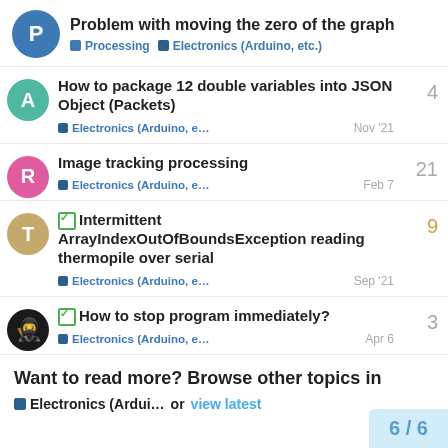Problem with moving the zero of the graph — Processing | Electronics (Arduino, etc.)
How to package 12 double variables into JSON Object (Packets) — Electronics (Arduino, e... — Nov '21 — 4 replies
Image tracking processing — Electronics (Arduino, e... — Feb 7 — 21 replies
[solved] Intermittent ArrayIndexOutOfBoundsException reading thermopile over serial — Electronics (Arduino, e... — Sep '21 — 9 replies
[solved] How to stop program immediately? — Electronics (Arduino, e... — Apr 6 — 3 replies
Want to read more? Browse other topics in Electronics (Ardui... or view latest
6 / 6